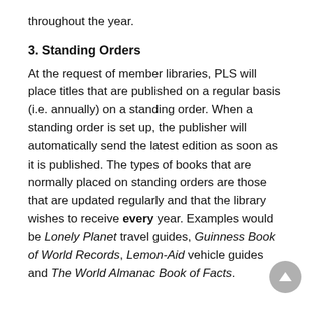throughout the year.
3. Standing Orders
At the request of member libraries, PLS will place titles that are published on a regular basis (i.e. annually) on a standing order. When a standing order is set up, the publisher will automatically send the latest edition as soon as it is published. The types of books that are normally placed on standing orders are those that are updated regularly and that the library wishes to receive every year. Examples would be Lonely Planet travel guides, Guinness Book of World Records, Lemon-Aid vehicle guides and The World Almanac Book of Facts.